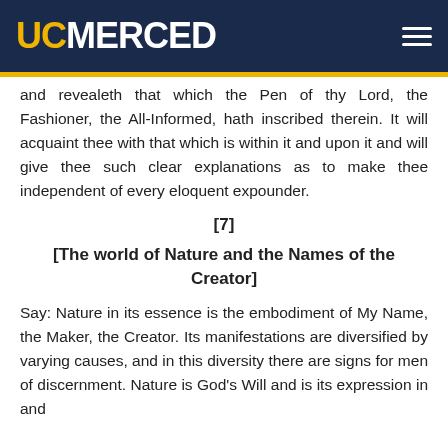UC MERCED
and revealeth that which the Pen of thy Lord, the Fashioner, the All-Informed, hath inscribed therein. It will acquaint thee with that which is within it and upon it and will give thee such clear explanations as to make thee independent of every eloquent expounder.
[7]
[The world of Nature and the Names of the Creator]
Say: Nature in its essence is the embodiment of My Name, the Maker, the Creator. Its manifestations are diversified by varying causes, and in this diversity there are signs for men of discernment. Nature is God's Will and is its expression in and